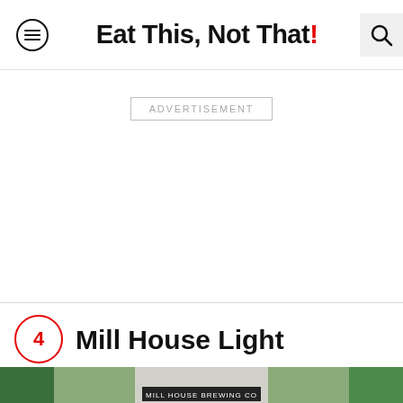Eat This, Not That!
ADVERTISEMENT
4 Mill House Light
[Figure (photo): A can of Mill House Brewing Co beer surrounded by green plants on a surface]